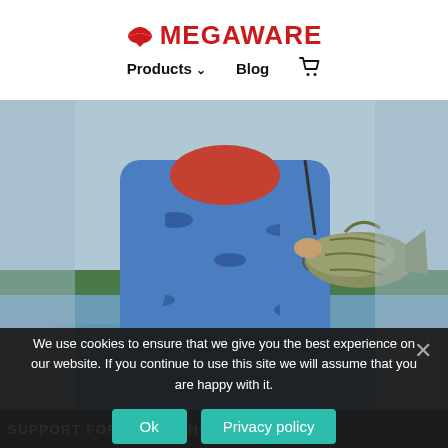MEGAWARE — Products, Blog, Cart navigation
[Figure (photo): Person in blue patterned long-sleeve fishing shirt holding a large bass fish, standing near water with trees visible in the background]
SUPPORT FOR HIGH SCHOOL FISHING
We use cookies to ensure that we give you the best experience on our website. If you continue to use this site we will assume that you are happy with it.